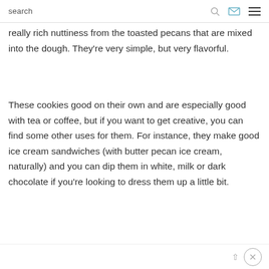search
really rich nuttiness from the toasted pecans that are mixed into the dough. They're very simple, but very flavorful.
These cookies good on their own and are especially good with tea or coffee, but if you want to get creative, you can find some other uses for them. For instance, they make good ice cream sandwiches (with butter pecan ice cream, naturally) and you can dip them in white, milk or dark chocolate if you're looking to dress them up a little bit.